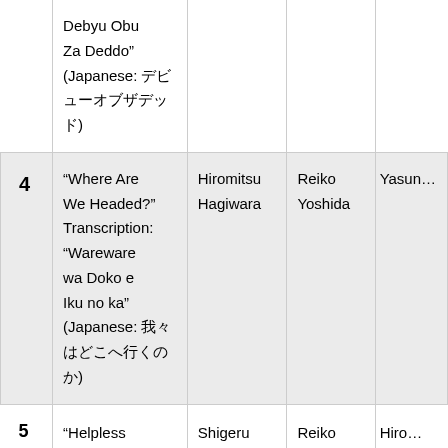| # | Title | Writer | Artist | ... |
| --- | --- | --- | --- | --- |
|  | Debyu Obu Za Deddo” (Japanese: デビュー オブ ザ デッド) |  |  |  |
| 4 | “Where Are We Headed?” Transcription: “Wareware wa Doko e Iku no ka” (Japanese: 我々 はどこへ行くのか) | Hiromitsu Hagiwara | Reiko Yoshida | Yasun… |
| 5 | “Helpless Even If I… | Shigeru Yamazaki | Reiko Yoshida | Hiro… |